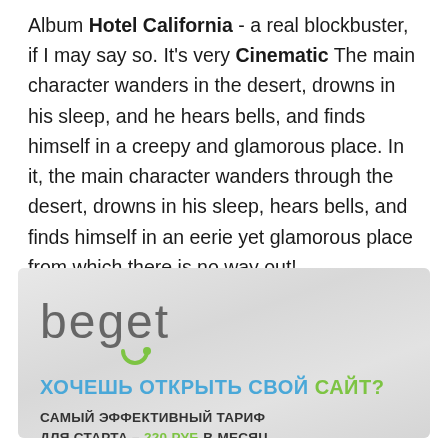Album Hotel California - a real blockbuster, if I may say so. It's very Cinematic The main character wanders in the desert, drowns in his sleep, and he hears bells, and finds himself in a creepy and glamorous place. In it, the main character wanders through the desert, drowns in his sleep, hears bells, and finds himself in an eerie yet glamorous place from which there is no way out!
[Figure (infographic): Beget hosting advertisement banner with logo, headline in Russian 'ХОЧЕШЬ ОТКРЫТЬ СВОЙ САЙТ?' and subtext 'САМЫЙ ЭФФЕКТИВНЫЙ ТАРИФ ДЛЯ СТАРТА – 220 РУБ В МЕСЯЦ.']